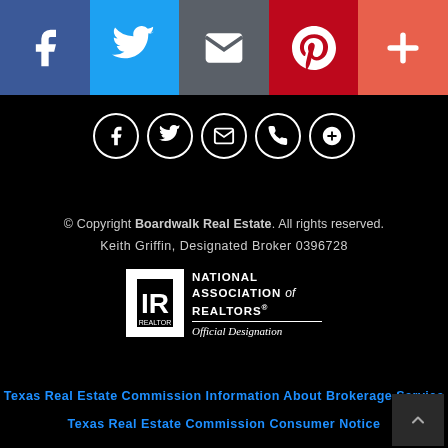[Figure (other): Social sharing bar with icons for Facebook, Twitter, Email, Pinterest, and a plus/more button]
[Figure (other): Row of circular social media icons: Facebook, Twitter, Email, Phone, Google+]
© Copyright Boardwalk Real Estate. All rights reserved.
Keith Griffin, Designated Broker 0396728
[Figure (logo): National Association of REALTORS® Official Designation logo with IR Realtor symbol]
Texas Real Estate Commission Information About Brokerage Service
Texas Real Estate Commission Consumer Notice